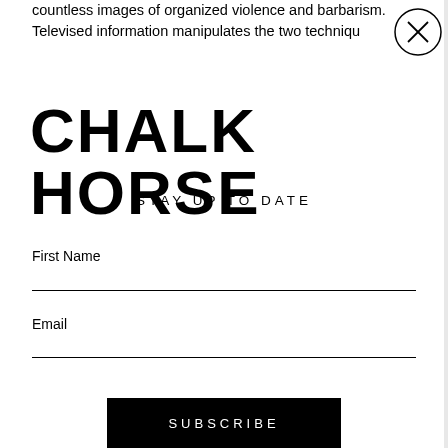countless images of organized violence and barbarism. Televised information manipulates the two techniqu...
CHALK HORSE
STAY UP TO DATE
First Name
Email
SUBSCRIBE